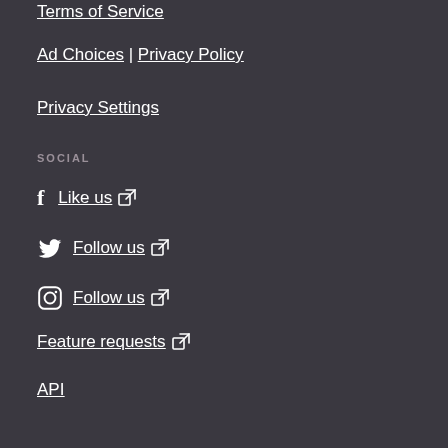Terms of Service
Ad Choices | Privacy Policy
Privacy Settings
SOCIAL
Like us
Follow us
Follow us
Feature requests
API
LINKS
Songtexte.com
Molindo.at
FRIENDS & PARTNERS
[Figure (logo): Allianz Global Assistance logo]
[Figure (screenshot): Uber advertisement: Got your ticket? Now reserve your ride.]